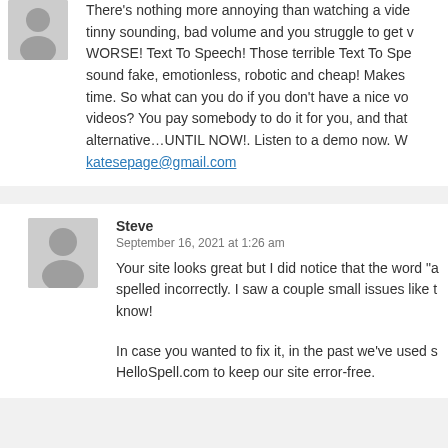There's nothing more annoying than watching a video with tinny sounding, bad volume and you struggle to get w… WORSE! Text To Speech! Those terrible Text To Spe… sound fake, emotionless, robotic and cheap! Makes … time. So what can you do if you don't have a nice vo… videos? You pay somebody to do it for you, and that … alternative…UNTIL NOW!. Listen to a demo now. W… katesepage@gmail.com
Steve
September 16, 2021 at 1:26 am
Your site looks great but I did notice that the word "a… spelled incorrectly. I saw a couple small issues like t… know!

In case you wanted to fix it, in the past we've used s… HelloSpell.com to keep our site error-free.